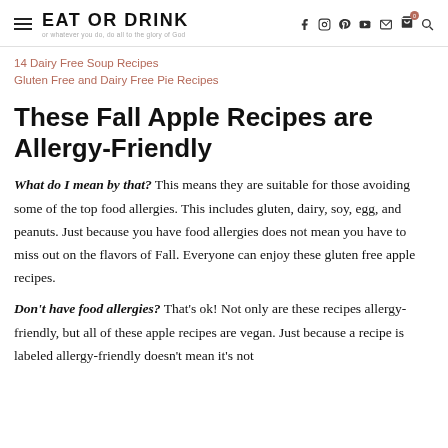EAT OR DRINK — or whatever you do, do all to the glory of God
14 Dairy Free Soup Recipes
Gluten Free and Dairy Free Pie Recipes
These Fall Apple Recipes are Allergy-Friendly
What do I mean by that? This means they are suitable for those avoiding some of the top food allergies. This includes gluten, dairy, soy, egg, and peanuts. Just because you have food allergies does not mean you have to miss out on the flavors of Fall. Everyone can enjoy these gluten free apple recipes.
Don't have food allergies? That's ok! Not only are these recipes allergy-friendly, but all of these apple recipes are vegan. Just because a recipe is labeled allergy-friendly doesn't mean it's not